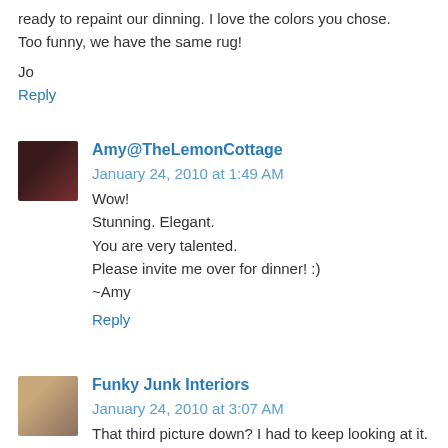ready to repaint our dinning. I love the colors you chose. Too funny, we have the same rug!
Jo
Reply
Amy@TheLemonCottage January 24, 2010 at 1:49 AM
Wow!
Stunning. Elegant.
You are very talented.
Please invite me over for dinner! :)
~Amy
Reply
Funky Junk Interiors January 24, 2010 at 3:07 AM
That third picture down? I had to keep looking at it. It's like it's too beautiful for words. Are you SURE you didn't find that in some big 'ol magazine somewhere?!? Holey diningroom!